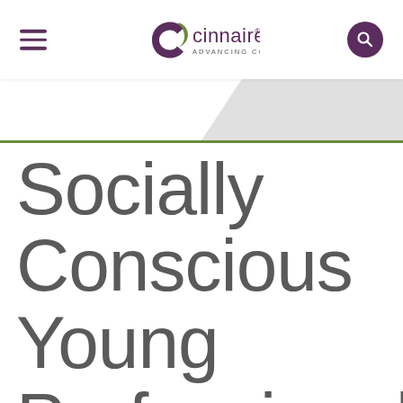[Figure (logo): Cinnaire logo with stylized leaf/C icon and text 'cinnaire ADVANCING COMMUNITIES']
Socially Conscious Young Professionals on Careers in